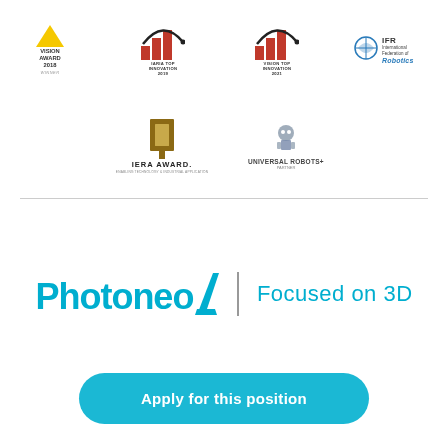[Figure (logo): Row of award logos: Vision Award 2018 Winner, IARIA Top Innovation 2019, Vision Top Innovation 2021, IFR International Federation of Robotics]
[Figure (logo): Row of award logos: IERA Award, Universal Robots+ partner]
[Figure (logo): Photoneo logo with tagline Focused on 3D]
Apply for this position